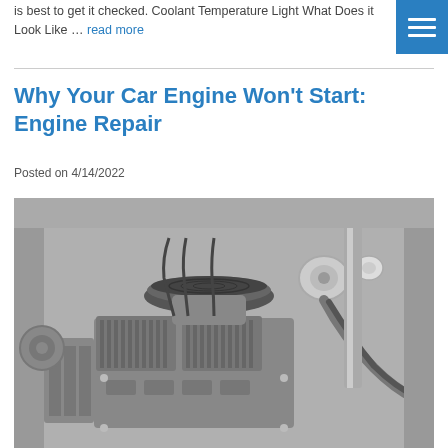is best to get it checked. Coolant Temperature Light What Does it Look Like … read more
Why Your Car Engine Won't Start: Engine Repair
Posted on 4/14/2022
[Figure (photo): Black and white photograph of a vintage car engine with chrome components, air filter on top of carburetor, valve covers, and hoses visible]